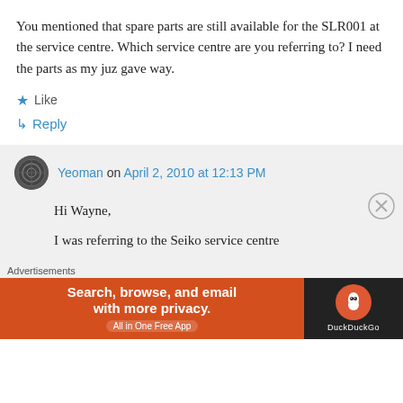You mentioned that spare parts are still available for the SLR001 at the service centre. Which service centre are you referring to? I need the parts as my juz gave way.
★ Like
↳ Reply
Yeoman on April 2, 2010 at 12:13 PM
Hi Wayne,
I was referring to the Seiko service centre
Advertisements
[Figure (screenshot): DuckDuckGo advertisement banner: orange left panel with 'Search, browse, and email with more privacy. All in One Free App' and dark right panel with DuckDuckGo logo]